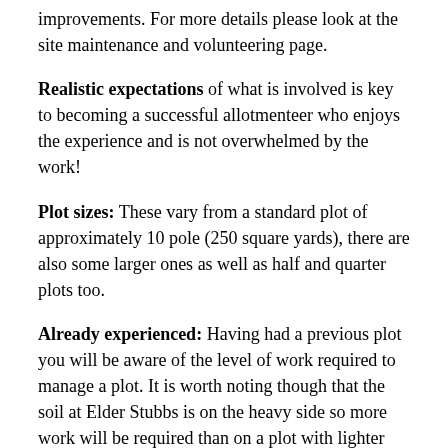improvements. For more details please look at the site maintenance and volunteering page.
Realistic expectations of what is involved is key to becoming a successful allotmenteer who enjoys the experience and is not overwhelmed by the work!
Plot sizes: These vary from a standard plot of approximately 10 pole (250 square yards), there are also some larger ones as well as half and quarter plots too.
Already experienced: Having had a previous plot you will be aware of the level of work required to manage a plot. It is worth noting though that the soil at Elder Stubbs is on the heavy side so more work will be required than on a plot with lighter soils.